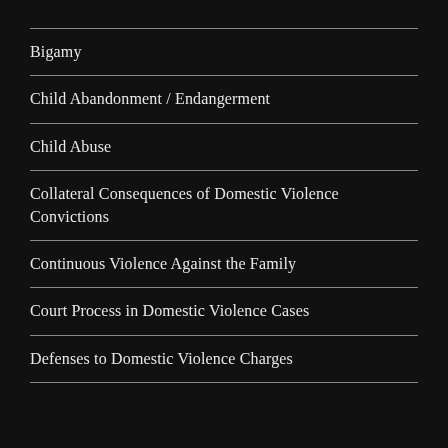Bigamy
Child Abandonment / Endangerment
Child Abuse
Collateral Consequences of Domestic Violence Convictions
Continuous Violence Against the Family
Court Process in Domestic Violence Cases
Defenses to Domestic Violence Charges